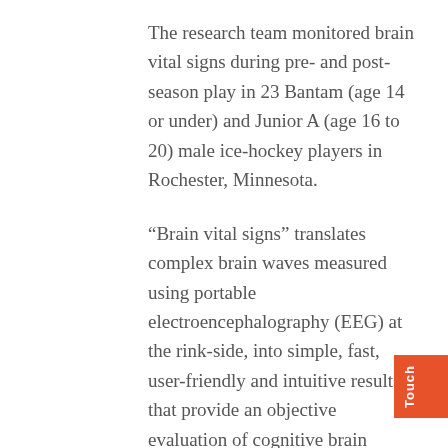The research team monitored brain vital signs during pre- and post-season play in 23 Bantam (age 14 or under) and Junior A (age 16 to 20) male ice-hockey players in Rochester, Minnesota.
“Brain vital signs” translates complex brain waves measured using portable electroencephalography (EEG) at the rink-side, into simple, fast, user-friendly and intuitive results that provide an objective evaluation of cognitive brain function. Called the ABCs of brain function, brain vital signs track three well-established neural responses for Auditory sensation (using a response called the N100), Basic attention (using a response called the P300), and Cognitive processing (using a